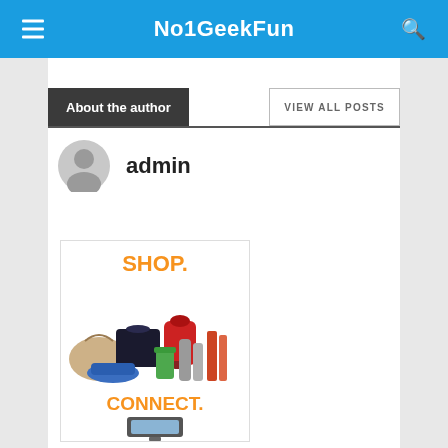No1GeekFun
About the author
VIEW ALL POSTS
admin
[Figure (infographic): Advertisement banner with SHOP. text in orange, product images (handbag, PS4, KitchenAid mixer, shoes, blender cup, thermos), and CONNECT. text in orange with a device image below]